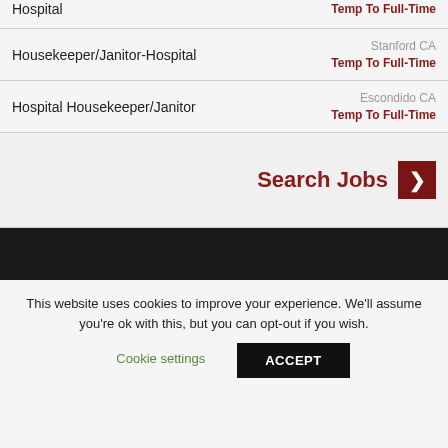Hospital — Temp To Full-Time
Housekeeper/Janitor-Hospital — Stanford CA — Temp To Full-Time
Hospital Housekeeper/Janitor — Escondido CA — Temp To Full-Time
Search Jobs
This website uses cookies to improve your experience. We'll assume you're ok with this, but you can opt-out if you wish.
Cookie settings
ACCEPT